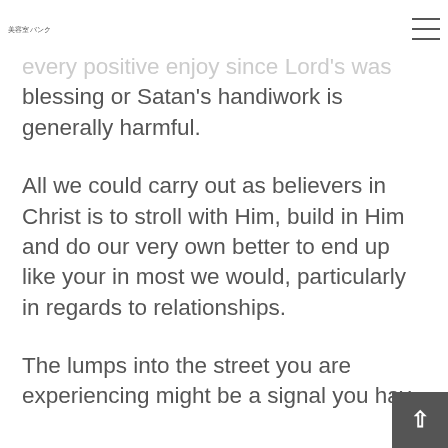美容室バンク
every positive enjoy since Lord's was blessing or Satan's handiwork is generally harmful.
All we could carry out as believers in Christ is to stroll with Him, build in Him and do our very own better to end up like your in most we would, particularly in regards to relationships.
The lumps into the street you are experiencing might be a signal you have...